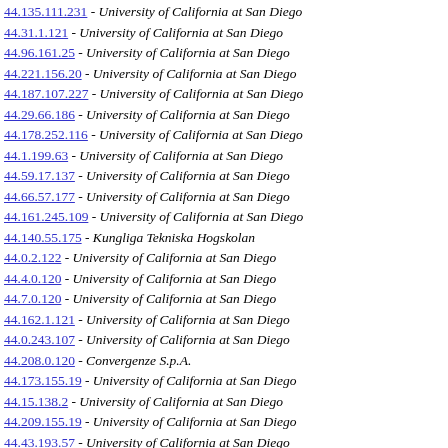44.135.111.231 - University of California at San Diego
44.31.1.121 - University of California at San Diego
44.96.161.25 - University of California at San Diego
44.221.156.20 - University of California at San Diego
44.187.107.227 - University of California at San Diego
44.29.66.186 - University of California at San Diego
44.178.252.116 - University of California at San Diego
44.1.199.63 - University of California at San Diego
44.59.17.137 - University of California at San Diego
44.66.57.177 - University of California at San Diego
44.161.245.109 - University of California at San Diego
44.140.55.175 - Kungliga Tekniska Hogskolan
44.0.2.122 - University of California at San Diego
44.4.0.120 - University of California at San Diego
44.7.0.120 - University of California at San Diego
44.162.1.121 - University of California at San Diego
44.0.243.107 - University of California at San Diego
44.208.0.120 - Convergenze S.p.A.
44.173.155.19 - University of California at San Diego
44.15.138.2 - University of California at San Diego
44.209.155.19 - University of California at San Diego
44.43.193.57 - University of California at San Diego
44.100.240.104 - University of California at San Diego
44.94.11.131 - University of California at San Diego
44.22.88.208 - University of California at San Diego
44.125.11.131 - University of California at San Diego
44.121.101.221 - University of California at San Diego
44.45.0.120 - University of California at San Diego
44.44.187.51 - University of California at San Diego
44.144.0.120 - University of California at San Diego